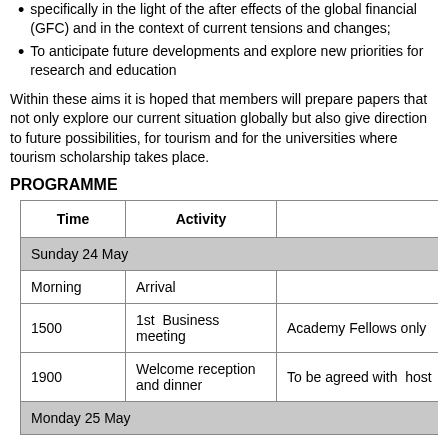specifically in the light of the after effects of the global financial (GFC) and in the context of current tensions and changes;
To anticipate future developments and explore new priorities for research and education
Within these aims it is hoped that members will prepare papers that not only explore our current situation globally but also give direction to future possibilities, for tourism and for the universities where tourism scholarship takes place.
PROGRAMME
| Time | Activity |
| --- | --- |
| Sunday 24 May |  |
| Morning | Arrival |  |
| 1500 | 1st  Business meeting | Academy Fellows only |
| 1900 | Welcome reception and dinner | To be agreed with  host |
| Monday 25 May |  |